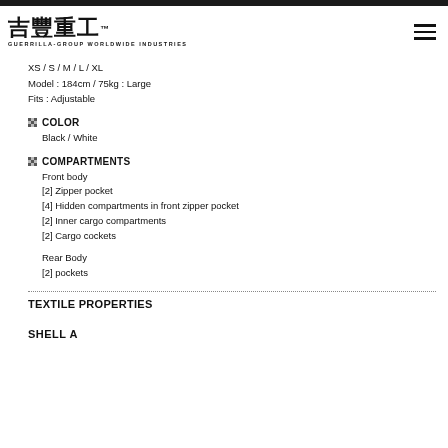Guerrilla-Group Worldwide Industries logo with hamburger menu
XS / S / M / L / XL
Model : 184cm / 75kg : Large
Fits : Adjustable
COLOR
Black / White
COMPARTMENTS
Front body
[2] Zipper pocket
[4] Hidden compartments in front zipper pocket
[2] Inner cargo compartments
[2] Cargo cockets
Rear Body
[2] pockets
TEXTILE PROPERTIES
SHELL A